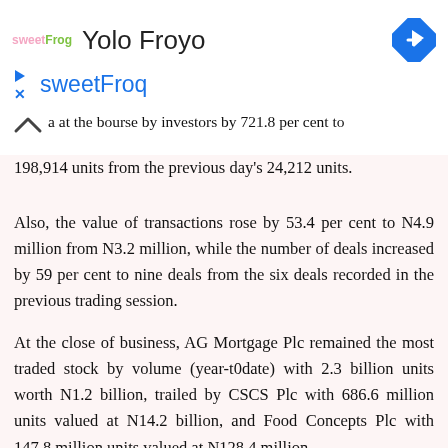sweetFrog  Yolo Froyo  sweetFroq
a at the bourse by investors by 721.8 per cent to 198,914 units from the previous day's 24,212 units.
Also, the value of transactions rose by 53.4 per cent to N4.9 million from N3.2 million, while the number of deals increased by 59 per cent to nine deals from the six deals recorded in the previous trading session.
At the close of business, AG Mortgage Plc remained the most traded stock by volume (year-t0date) with 2.3 billion units worth N1.2 billion, trailed by CSCS Plc with 686.6 million units valued at N14.2 billion, and Food Concepts Plc with 147.8 million units valued at N128.4 million.